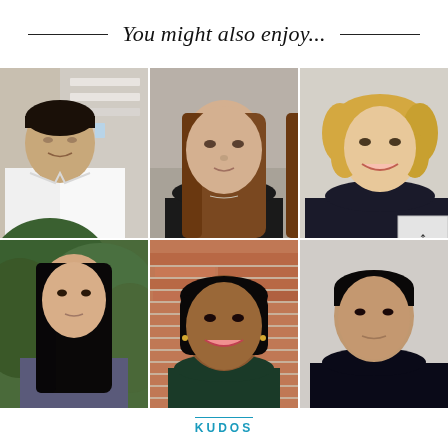You might also enjoy...
[Figure (photo): 3x2 grid of six portrait photos of young researchers/students. Top row: young Asian male in lab coat in laboratory setting; young woman with long brown hair in black turtleneck against neutral background; young blonde woman smiling in dark top against light background. Bottom row: young woman with black hair outdoors in green foliage; young South Asian woman smiling in front of brick wall; young Asian male in dark outfit against light background.]
KUDOS